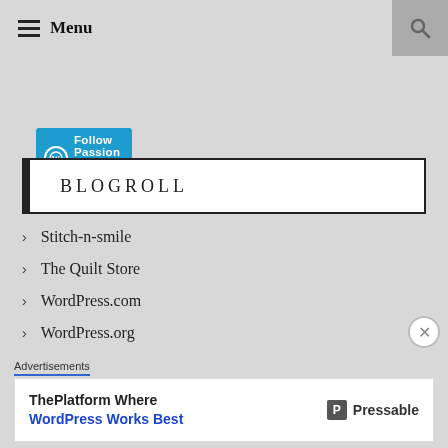Menu
[Figure (screenshot): Follow Passion To Create button with WordPress logo]
BLOGROLL
Stitch-n-smile
The Quilt Store
WordPress.com
WordPress.org
Advertisements
[Figure (infographic): Pressable advertisement: ThePlatform Where WordPress Works Best]